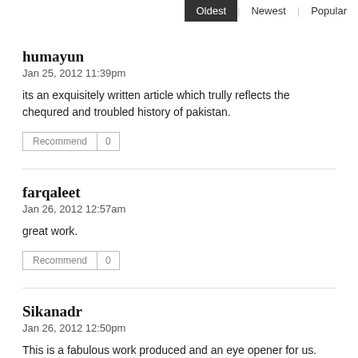Oldest | Newest | Popular
humayun
Jan 25, 2012 11:39pm
its an exquisitely written article which trully reflects the chequred and troubled history of pakistan.
farqaleet
Jan 26, 2012 12:57am
great work.
Sikanadr
Jan 26, 2012 12:50pm
This is a fabulous work produced and an eye opener for us.